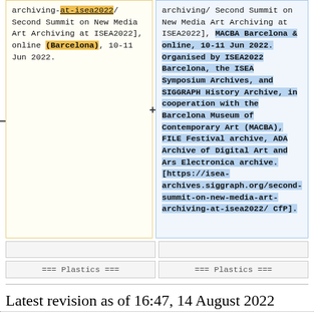archiving-at-isea2022/ Second Summit on New Media Art Archiving at ISEA2022], online (Barcelona), 10-11 Jun 2022.
archiving/ Second Summit on New Media Art Archiving at ISEA2022], MACBA Barcelona & online, 10-11 Jun 2022. Organised by ISEA2022 Barcelona, the ISEA Symposium Archives, and SIGGRAPH History Archive, in cooperation with the Barcelona Museum of Contemporary Art (MACBA), FILE Festival archive, ADA Archive of Digital Art and Ars Electronica archive. [https://isea-archives.siggraph.org/second-summit-on-new-media-art-archiving-at-isea2022/ CfP].
=== Plastics ===
=== Plastics ===
Latest revision as of 16:47, 14 August 2022